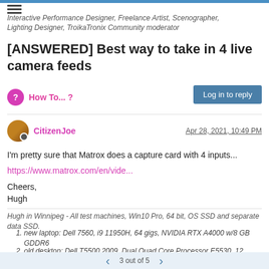Interactive Performance Designer, Freelance Artist, Scenographer, Lighting Designer, TroikaTronix Community moderator
[ANSWERED] Best way to take in 4 live camera feeds
How To... ?
Log in to reply
CitizenJoe
Apr 28, 2021, 10:49 PM
I'm pretty sure that Matrox does a capture card with 4 inputs...
https://www.matrox.com/en/vide...
Cheers,
Hugh
Hugh in Winnipeg - All test machines, Win10 Pro, 64 bit, OS SSD and separate data SSD.
new laptop: Dell 7560, i9 11950H, 64 gigs, NVIDIA RTX A4000 w/8 GB GDDR6
old desktop: Dell T5500 2009, Dual Quad Core Processor E5530, 12 gigs, 2x Radeon 5750... Still works well!